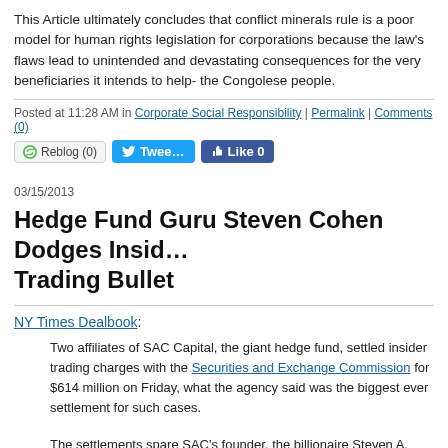This Article ultimately concludes that conflict minerals rule is a poor model for human rights legislation for corporations because the law's flaws lead to unintended and devastating consequences for the very beneficiaries it intends to help- the Congolese people.
Posted at 11:28 AM in Corporate Social Responsibility | Permalink | Comments (0)
[Figure (other): Social sharing buttons: Reblog (0), Tweet, Like 0]
03/15/2013
Hedge Fund Guru Steven Cohen Dodges Insider Trading Bullet
NY Times Dealbook:
Two affiliates of SAC Capital, the giant hedge fund, settled insider trading charges with the Securities and Exchange Commission for $614 million on Friday, what the agency said was the biggest ever settlement for such cases.
The settlements spare SAC's founder, the billionaire Steven A. Cohen, who has not been charged with wrongdoing. Mr. Cohen, one of the most successful hedge fund managers in the world, has long been considered a target of federal investi…
David Zarig comments:
The case against Cohen always looked pretty strong to me, and he's certain…